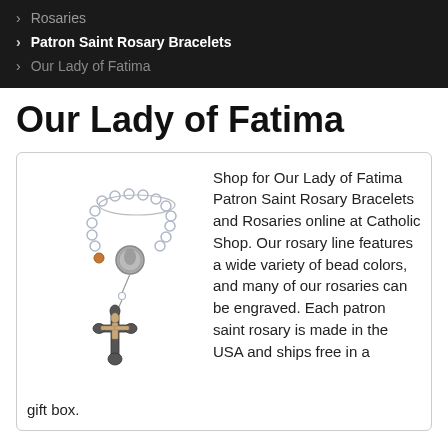Rosaries
Patron Saint Rosary Bracelets
Our Lady of Fatima
Our Lady of Fatima
[Figure (photo): A crystal bead rosary with a silver crucifix and a medallion center piece, displayed on a white background.]
Shop for Our Lady of Fatima Patron Saint Rosary Bracelets and Rosaries online at Catholic Shop. Our rosary line features a wide variety of bead colors, and many of our rosaries can be engraved. Each patron saint rosary is made in the USA and ships free in a gift box.